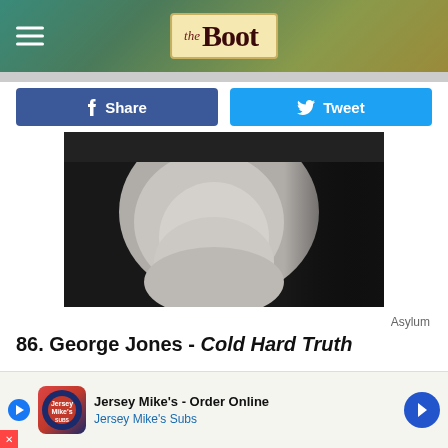the Boot
[Figure (screenshot): Share and Tweet social media buttons]
[Figure (photo): Black and white close-up photo of a person's face/chin area]
Asylum
86. George Jones - Cold Hard Truth
George Jones was well into his fourth decade of making hits when he released Cold Hard Truth in June of 1999. Released just months after a car crash that forced him to sober up for good, the album was a return to form for Jones, who had been in [obscured by ad] ces," a powert[obscured by ad]d